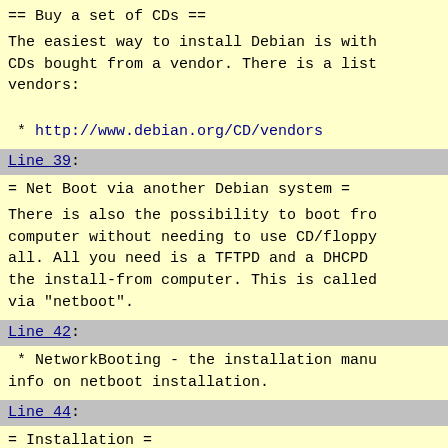== Buy a set of CDs ==
The easiest way to install Debian is with CDs bought from a vendor. There is a list vendors:
* http://www.debian.org/CD/vendors
Line 39:
= Net Boot via another Debian system =
There is also the possibility to boot from a computer without needing to use CD/floppy at all. All you need is a TFTPD and a DHCPD on the install-from computer. This is called via "netboot".
Line 42:
* NetworkBooting - the installation manual info on netboot installation.
Line 44:
= Installation =
The most useful thing you can do is to